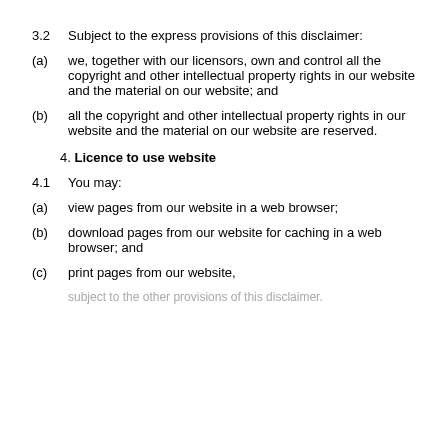3.2  Subject to the express provisions of this disclaimer:
(a)  we, together with our licensors, own and control all the copyright and other intellectual property rights in our website and the material on our website; and
(b)  all the copyright and other intellectual property rights in our website and the material on our website are reserved.
4. Licence to use website
4.1  You may:
(a)  view pages from our website in a web browser;
(b)  download pages from our website for caching in a web browser; and
(c)  print pages from our website,
subject to the other provisions of this disclaimer.